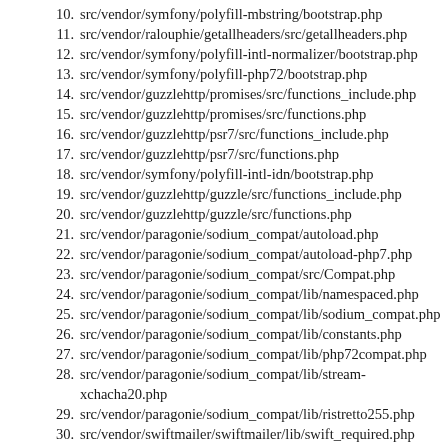src/vendor/symfony/polyfill-mbstring/bootstrap.php
src/vendor/ralouphie/getallheaders/src/getallheaders.php
src/vendor/symfony/polyfill-intl-normalizer/bootstrap.php
src/vendor/symfony/polyfill-php72/bootstrap.php
src/vendor/guzzlehttp/promises/src/functions_include.php
src/vendor/guzzlehttp/promises/src/functions.php
src/vendor/guzzlehttp/psr7/src/functions_include.php
src/vendor/guzzlehttp/psr7/src/functions.php
src/vendor/symfony/polyfill-intl-idn/bootstrap.php
src/vendor/guzzlehttp/guzzle/src/functions_include.php
src/vendor/guzzlehttp/guzzle/src/functions.php
src/vendor/paragonie/sodium_compat/autoload.php
src/vendor/paragonie/sodium_compat/autoload-php7.php
src/vendor/paragonie/sodium_compat/src/Compat.php
src/vendor/paragonie/sodium_compat/lib/namespaced.php
src/vendor/paragonie/sodium_compat/lib/sodium_compat.php
src/vendor/paragonie/sodium_compat/lib/constants.php
src/vendor/paragonie/sodium_compat/lib/php72compat.php
src/vendor/paragonie/sodium_compat/lib/stream-xchacha20.php
src/vendor/paragonie/sodium_compat/lib/ristretto255.php
src/vendor/swiftmailer/swiftmailer/lib/swift_required.php
src/vendor/swiftmailer/swiftmailer/lib/classes/Swift.php
src/vendor/symfony/var-dumper/Resources/functions/dump.php
src/vendor/dokuijki/utf8/utf8.php